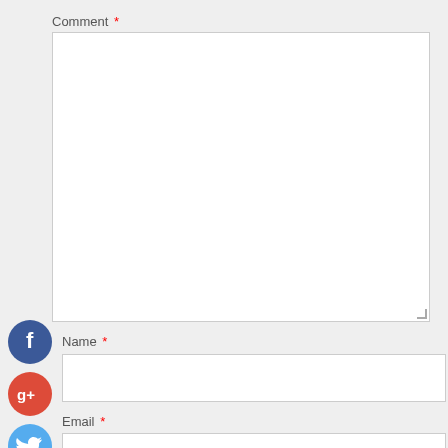Comment *
[Figure (screenshot): Large empty comment textarea input box with white background and light gray border, with resize handle in bottom-right corner]
[Figure (illustration): Facebook social sharing icon - dark blue circle with white 'f' letter]
[Figure (illustration): Google+ social sharing icon - red/orange circle with white 'g+' text]
[Figure (illustration): Twitter social sharing icon - light blue circle with white bird icon]
[Figure (illustration): Add/plus social sharing icon - dark navy circle with white '+' symbol]
Name *
[Figure (screenshot): Empty Name input field with white background and light gray border]
Email *
[Figure (screenshot): Empty Email input field with white background and light gray border, partially shown]